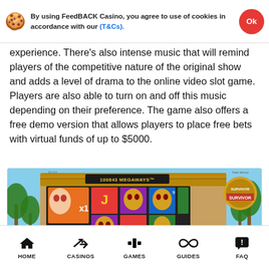By using FeedBACK Casino, you agree to use of cookies in accordance with our (T&Cs).
experience. There's also intense music that will remind players of the competitive nature of the original show and adds a level of drama to the online video slot game. Players are also able to turn on and off this music depending on their preference. The game also offers a free demo version that allows players to place free bets with virtual funds of up to $5000.
[Figure (screenshot): Screenshot of the Survivor Megaways slot game showing reels with mask symbols, J, Q, K, A card symbols, a wild multiplier x1, '100843 MEGAWAYS' banner at top, Survivor logo top right, and a STAKE 1.00 panel bottom right, set against a tropical background with palm trees.]
HOME   CASINOS   GAMES   GUIDES   FAQ